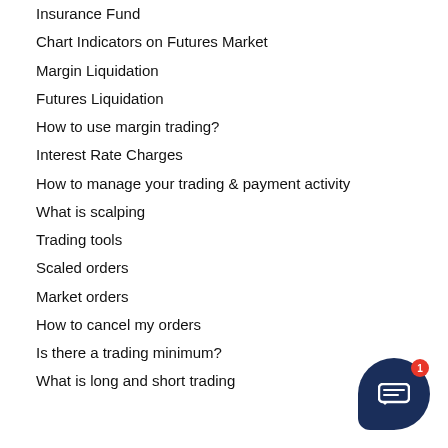Insurance Fund
Chart Indicators on Futures Market
Margin Liquidation
Futures Liquidation
How to use margin trading?
Interest Rate Charges
How to manage your trading & payment activity
What is scalping
Trading tools
Scaled orders
Market orders
How to cancel my orders
Is there a trading minimum?
What is long and short trading
[Figure (illustration): Dark navy blue chat bubble icon with white speech bubble symbol and a red notification badge showing the number 1]